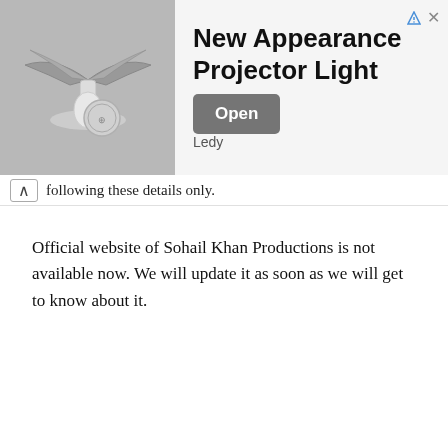[Figure (photo): Advertisement banner showing a projector light fixture product image on the left, with bold title 'New Appearance Projector Light', brand name 'Ledy', and an 'Open' button on the right. Ad icons (triangle/info and X) in top right corner.]
following these details only.
Official website of Sohail Khan Productions is not available now. We will update it as soon as we will get to know about it.